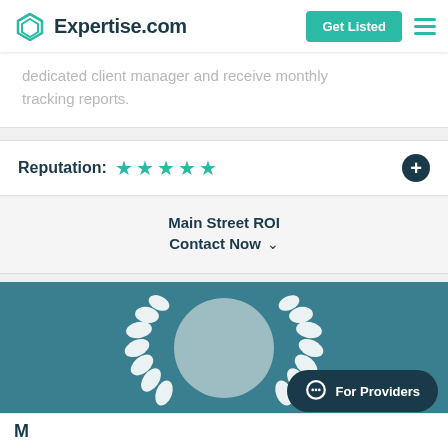Expertise.com | Get Listed
dedicated client manager and receive monthly tracking reports.
Reputation: ★★★★★
Main Street ROI
Contact Now
[Figure (illustration): Teal award banner with a laurel wreath and circular profile placeholder image]
For Providers